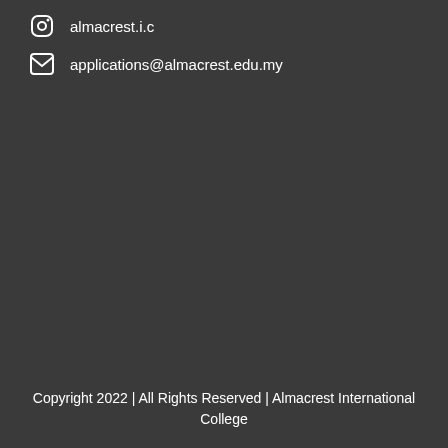almacrest.i.c
applications@almacrest.edu.my
Copyright 2022 | All Rights Reserved | Almacrest International College